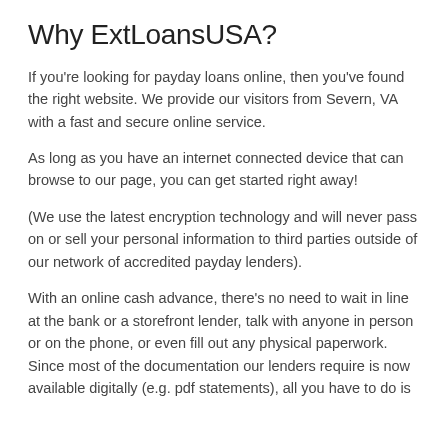Why ExtLoansUSA?
If you're looking for payday loans online, then you've found the right website. We provide our visitors from Severn, VA with a fast and secure online service.
As long as you have an internet connected device that can browse to our page, you can get started right away!
(We use the latest encryption technology and will never pass on or sell your personal information to third parties outside of our network of accredited payday lenders).
With an online cash advance, there's no need to wait in line at the bank or a storefront lender, talk with anyone in person or on the phone, or even fill out any physical paperwork. Since most of the documentation our lenders require is now available digitally (e.g. pdf statements), all you have to do is